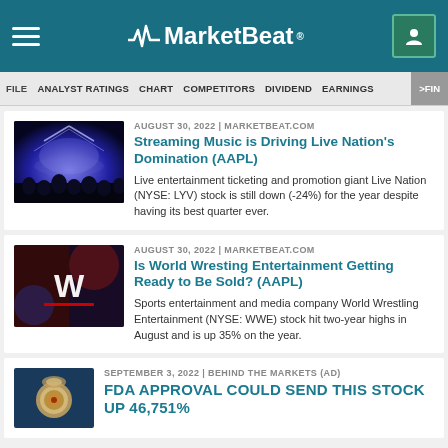MarketBeat
FILE | ANALYST RATINGS | CHART | COMPETITORS | DIVIDEND | EARNINGS | >FIN
AUGUST 30, 2022 | MARKETBEAT.COM
Streaming Music is Driving Live Nation's Domination (AAPL)
Live entertainment ticketing and promotion giant Live Nation (NYSE: LYV) stock is still down (-24%) for the year despite having its best quarter ever.
AUGUST 30, 2022 | MARKETBEAT.COM
Is World Wresting Entertainment Getting Ready to Be Sold? (AAPL)
Sports entertainment and media company World Wrestling Entertainment (NYSE: WWE) stock hit two-year highs in August and is up 35% on the year.
SEPTEMBER 3, 2022 | BEHIND THE MARKETS (AD)
FDA APPROVAL COULD SEND THIS STOCK UP 46,751%